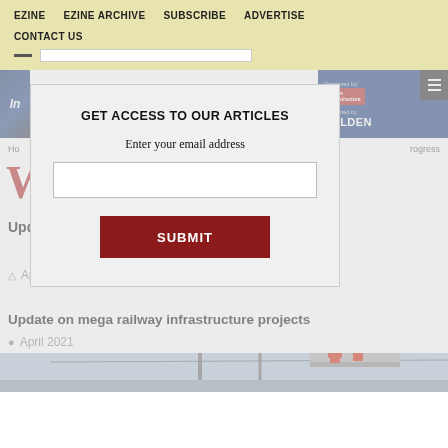EZINE   EZINE ARCHIVE   SUBSCRIBE   ADVERTISE   CONTACT US
[Figure (screenshot): Website background showing logo strip, blue banner with 'industries', organized by Indian Infrastructure, supported by BELDEN, hamburger menu button, breadcrumb navigation, large red W initial, and bottom photo of railway workers on a lift platform]
GET ACCESS TO OUR ARTICLES
Enter your email address
SUBMIT
Update on mega railway infrastructure projects
April 2021